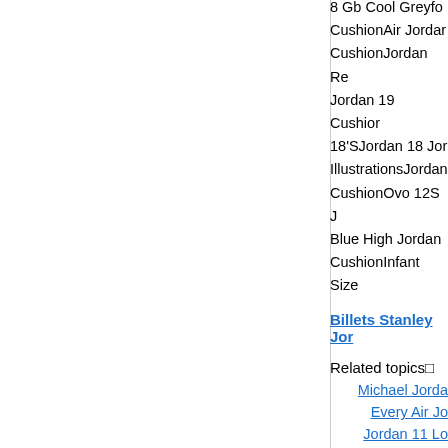8 Gb Cool GreyCushionAir JordanCushionJordan ReJordan 19 Cushion18'SJordan 18 JordanIllustrationsJordanCushionOvo 12S JBlue High JordanCushionInfant Size
Billets Stanley Jor
Related topics□
Michael JordaEvery Air JoJordan 11 Lo
Tags:
New Unc 18 Jorda40 Hottie 11 Jan 2Jordan Lukaku Ca